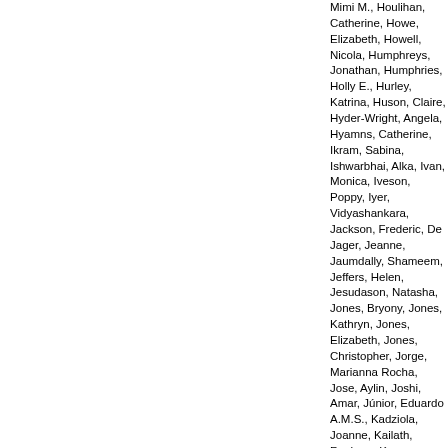Mimi M., Houlihan, Catherine, Howe, Elizabeth, Howell, Nicola, Humphreys, Jonathan, Humphries, Holly E., Hurley, Katrina, Huson, Claire, Hyder-Wright, Angela, Hyamns, Catherine, Ikram, Sabina, Ishwarbhai, Alka, Ivan, Monica, Iveson, Poppy, Iyer, Vidyashankara, Jackson, Frederic, De Jager, Jeanne, Jaumdally, Shameem, Jeffers, Helen, Jesudason, Natasha, Jones, Bryony, Jones, Kathryn, Jones, Elizabeth, Jones, Christopher, Jorge, Marianna Rocha, Jose, Aylin, Joshi, Amar, Júnior, Eduardo A.M.S., Kadziola, Joanne, Kailath, Reshma, Kana, Faeeza, Karampatsas, Konstantinos, Kasanyinga, Mwila, Keen, Jade, Kelly, Elizabeth J., Kelly, Dearbhla M., Kelly, Debbie, Kelly, Sarah, Kerr,